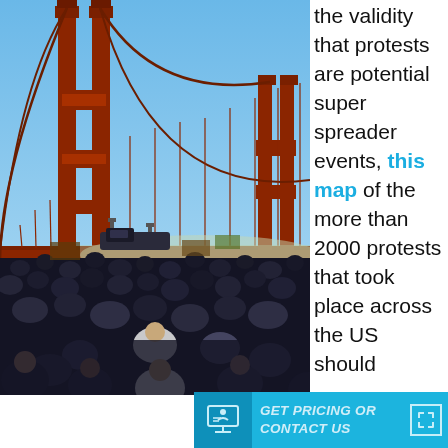[Figure (photo): Large crowd of protesters on the Golden Gate Bridge in San Francisco. The red bridge tower and suspension cables are visible against a blue sky. The bridge deck is packed with hundreds of protesters.]
the validity that protests are potential super spreader events, this map of the more than 2000 protests that took place across the US should
[Figure (infographic): Cyan/blue banner at the bottom with an icon of a person presenting at a screen, and the text GET PRICING OR CONTACT US in italic bold, with an expand icon at the right.]